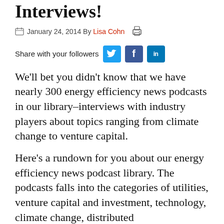Interviews!
January 24, 2014 By Lisa Cohn
Share with your followers
We'll bet you didn't know that we have nearly 300 energy efficiency news podcasts in our library–interviews with industry players about topics ranging from climate change to venture capital.
Here's a rundown for you about our energy efficiency news podcast library. The podcasts falls into the categories of utilities, venture capital and investment, technology, climate change, distributed